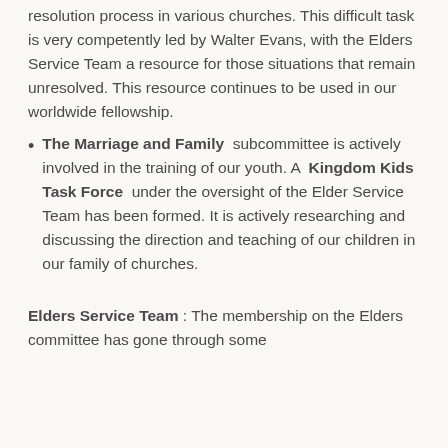resolution process in various churches. This difficult task is very competently led by Walter Evans, with the Elders Service Team a resource for those situations that remain unresolved. This resource continues to be used in our worldwide fellowship.
The Marriage and Family subcommittee is actively involved in the training of our youth. A Kingdom Kids Task Force under the oversight of the Elder Service Team has been formed. It is actively researching and discussing the direction and teaching of our children in our family of churches.
Elders Service Team : The membership on the Elders committee has gone through some